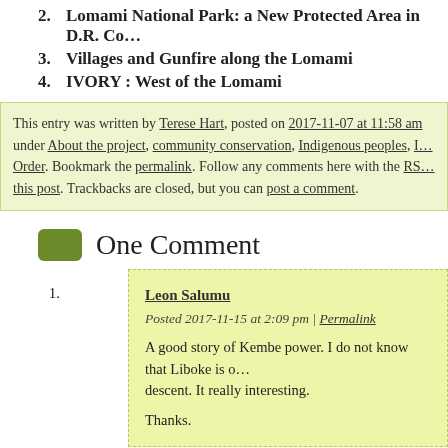2. Lomami National Park: a New Protected Area in D.R. Co…
3. Villages and Gunfire along the Lomami
4. IVORY : West of the Lomami
This entry was written by Terese Hart, posted on 2017-11-07 at 11:58 am under About the project, community conservation, Indigenous peoples, [more]. Bookmark the permalink. Follow any comments here with the RS[S feed for] this post. Trackbacks are closed, but you can post a comment.
One Comment
Leon Salumu
Posted 2017-11-15 at 2:09 pm | Permalink

A good story of Kembe power. I do not know that Liboke is [of] descent. It really interesting.

Thanks.